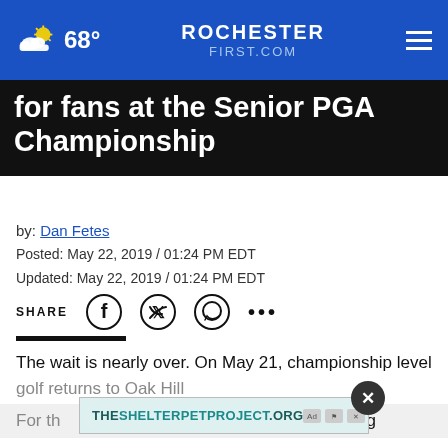68° ROCHESTERFIRST.COM
for fans at the Senior PGA Championship
by: Dan Fetes
Posted: May 22, 2019 / 01:24 PM EDT
Updated: May 22, 2019 / 01:24 PM EDT
SHARE
The wait is nearly over. On May 21, championship level golf returns to Oak Hill
For th... big
[Figure (other): Advertisement banner for THESHELTERPETPROJECT.ORG]